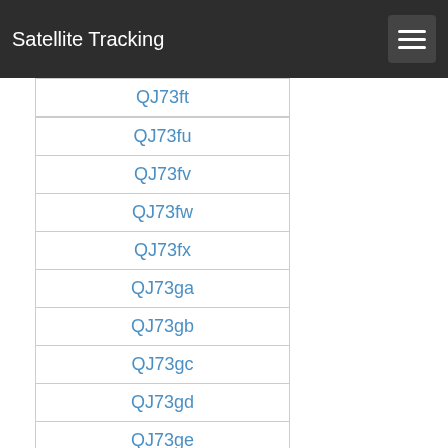Satellite Tracking
QJ73ft
QJ73fu
QJ73fv
QJ73fw
QJ73fx
QJ73ga
QJ73gb
QJ73gc
QJ73gd
QJ73ge
QJ73gf
QJ73gg
QJ73gh
QJ73gi
QJ73gj
QJ73gk
QJ73gl
QJ73gm